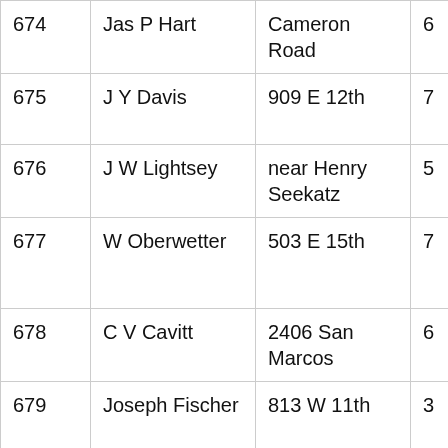| # | Name | Address | Ward |  |
| --- | --- | --- | --- | --- |
| 674 | Jas P Hart | Cameron Road | 6 | W |
| 675 | J Y Davis | 909 E 12th | 7 | W |
| 676 | J W Lightsey | near Henry Seekatz | 5 | W |
| 677 | W Oberwetter | 503 E 15th | 7 | W |
| 678 | C V Cavitt | 2406 San Marcos | 6 | W |
| 679 | Joseph Fischer | 813 W 11th | 3 | W |
| 680 | Wm R Bacon | 413 E 4th | 10 | W |
| 681 | H W Peoples | Bet 11th & Chuicapin | 8 | C |